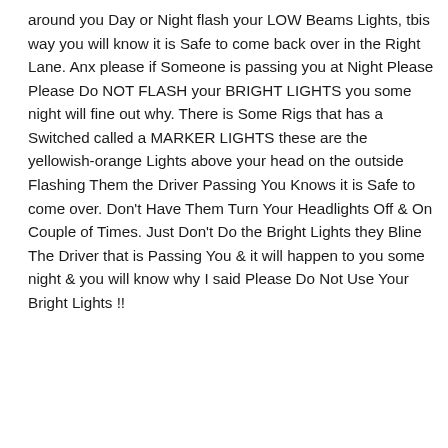around you Day or Night flash your LOW Beams Lights, tbis way you will know it is Safe to come back over in the Right Lane. Anx please if Someone is passing you at Night Please Please Do NOT FLASH your BRIGHT LIGHTS you some night will fine out why. There is Some Rigs that has a Switched called a MARKER LIGHTS these are the yellowish-orange Lights above your head on the outside Flashing Them the Driver Passing You Knows it is Safe to come over. Don't Have Them Turn Your Headlights Off & On Couple of Times. Just Don't Do the Bright Lights they Bline The Driver that is Passing You & it will happen to you some night & you will know why I said Please Do Not Use Your Bright Lights !!